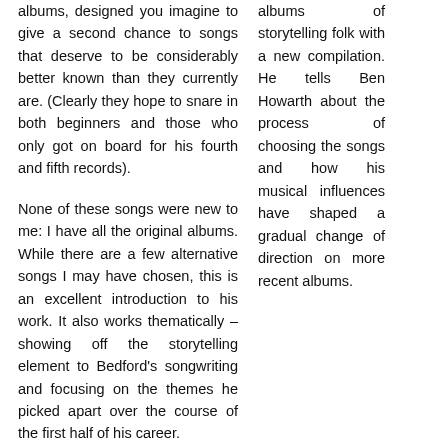albums, designed you imagine to give a second chance to songs that deserve to be considerably better known than they currently are. (Clearly they hope to snare in both beginners and those who only got on board for his fourth and fifth records).
None of these songs were new to me: I have all the original albums. While there are a few alternative songs I may have chosen, this is an excellent introduction to his work. It also works thematically – showing off the storytelling element to Bedford's songwriting and focusing on the themes he picked apart over the course of the first half of his career.
albums of storytelling folk with a new compilation. He tells Ben Howarth about the process of choosing the songs and how his musical influences have shaped a gradual change of direction on more recent albums.